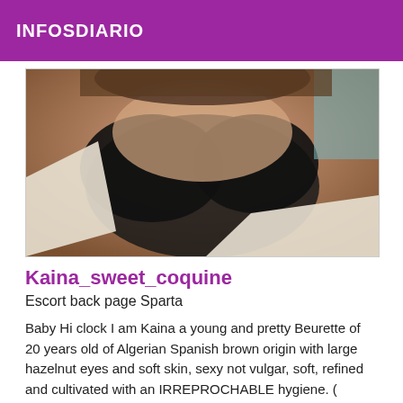INFOSDIARIO
[Figure (photo): A close-up photo of a person wearing a black bra with white clothing pulled open, revealing the chest area.]
Kaina_sweet_coquine
Escort back page Sparta
Baby Hi clock I am Kaina a young and pretty Beurette of 20 years old of Algerian Spanish brown origin with large hazelnut eyes and soft skin, sexy not vulgar, soft, refined and cultivated with an IRREPROCHABLE hygiene. (